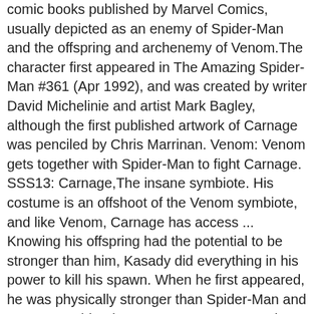comic books published by Marvel Comics, usually depicted as an enemy of Spider-Man and the offspring and archenemy of Venom.The character first appeared in The Amazing Spider-Man #361 (Apr 1992), and was created by writer David Michelinie and artist Mark Bagley, although the first published artwork of Carnage was penciled by Chris Marrinan. Venom: Venom gets together with Spider-Man to fight Carnage. SSS13: Carnage,The insane symbiote. His costume is an offshoot of the Venom symbiote, and like Venom, Carnage has access ... Knowing his offspring had the potential to be stronger than him, Kasady did everything in his power to kill his spawn. When he first appeared, he was physically stronger than Spider-Man and Venom combined. Upon Venom's escape, the symbiote left behind its offspring, which would then merge with Kasady, leading the two to become Carnage. 117 votes. In 2004, we got one of the best written runs 359.” An offspring of Venom, the Carnage symbiote is most closely related in the comics to Cletus Kasady, the man portrayed by Harrelson in the end of Venom. The thing about Venom is that it’s a beloved classic, and you just